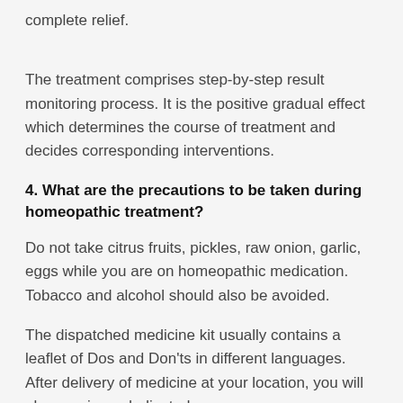complete relief.
The treatment comprises step-by-step result monitoring process. It is the positive gradual effect which determines the course of treatment and decides corresponding interventions.
4. What are the precautions to be taken during homeopathic treatment?
Do not take citrus fruits, pickles, raw onion, garlic, eggs while you are on homeopathic medication. Tobacco and alcohol should also be avoided.
The dispatched medicine kit usually contains a leaflet of Dos and Don'ts in different languages. After delivery of medicine at your location, you will also receive a dedicated